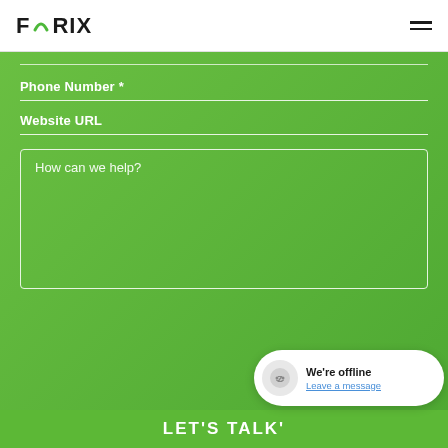FORIX
Phone Number *
Website URL
How can we help?
LET'S TALK'
We're offline
Leave a message